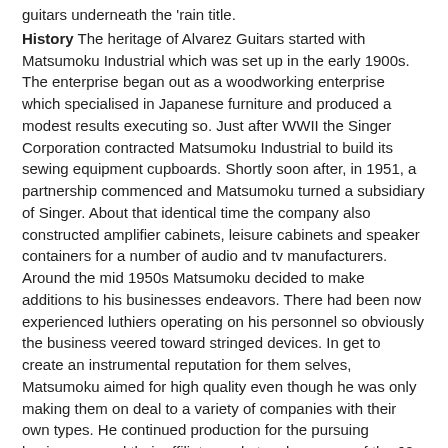guitars underneath the 'rain title.
History The heritage of Alvarez Guitars started with Matsumoku Industrial which was set up in the early 1900s. The enterprise began out as a woodworking enterprise which specialised in Japanese furniture and produced a modest results executing so. Just after WWII the Singer Corporation contracted Matsumoku Industrial to build its sewing equipment cupboards. Shortly soon after, in 1951, a partnership commenced and Matsumoku turned a subsidiary of Singer. About that identical time the company also constructed amplifier cabinets, leisure cabinets and speaker containers for a number of audio and tv manufacturers. Around the mid 1950s Matsumoku decided to make additions to his businesses endeavors. There had been now experienced luthiers operating on his personnel so obviously the business veered toward stringed devices. In get to create an instrumental reputation for them selves, Matsumoku aimed for high quality even though he was only making them on deal to a variety of companies with their own types. He continued production for the pursuing businesses and their affiliate marketers by means of the 60s.
Guyatone
FujiGen Gakki
Greco
Yamaha
Aria
Gi...